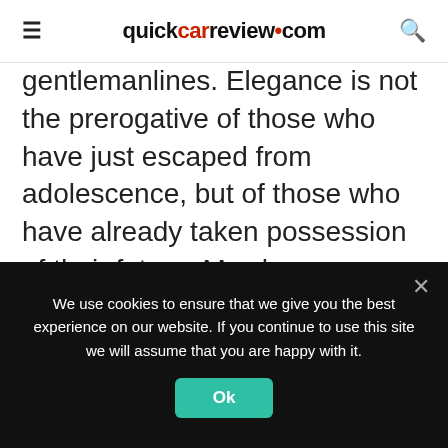quickcarreview.com
gentlemanlines. Elegance is not the prerogative of those who have just escaped from adolescence, but of those who have already taken possession of their future. My shows are about the complete woman who swallows it all. It's a question of survival. We look our best in subdued colors, sophisticated cuts, and a general air sleek understatement. There is always an emotional element to anything that you make.
We use cookies to ensure that we give you the best experience on our website. If you continue to use this site we will assume that you are happy with it.